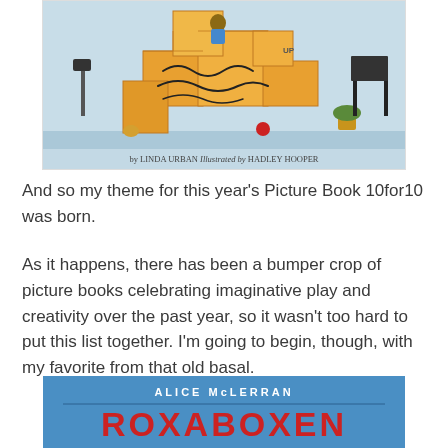[Figure (illustration): Top portion of a children's picture book cover showing illustrated characters climbing orange/yellow cardboard boxes, with text at bottom reading 'by LINDA URBAN Illustrated by HADLEY HOOPER']
And so my theme for this year's Picture Book 10for10 was born.
As it happens, there has been a bumper crop of picture books celebrating imaginative play and creativity over the past year, so it wasn't too hard to put this list together. I'm going to begin, though, with my favorite from that old basal.
[Figure (illustration): Top portion of the book cover for 'Roxaboxen' by Alice McLerran, showing a blue background with author name in white and book title in large red letters]